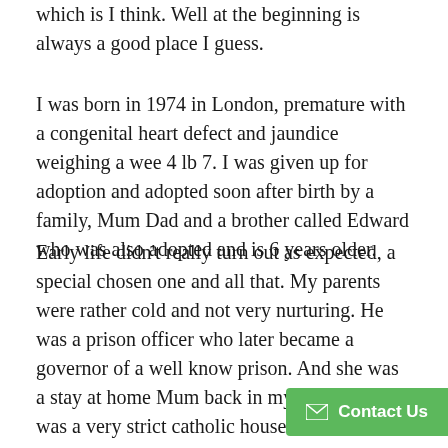…which is I think. Well at the beginning is always a good place I guess.
I was born in 1974 in London, premature with a congenital heart defect and jaundice weighing a wee 4 lb 7. I was given up for adoption and adopted soon after birth by a family, Mum Dad and a brother called Edward who was also adopted and is 6 years older.
Early life didn't really turn out as expected, a special chosen one and all that. My parents were rather cold and not very nurturing. He was a prison officer who later became a governor of a well know prison. And she was a stay at home Mum back in my early years. It was a very strict catholic household without much love and the motto children should be seen and not heard and that there was nothing wrong with physical punishment. Saying that they did ha… moments be it few and far between